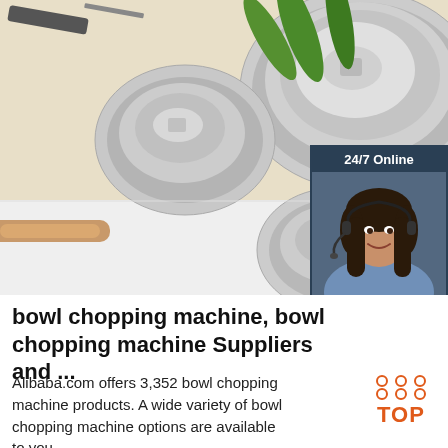[Figure (photo): Product photo showing multiple stainless steel mixing bowls of various sizes arranged on a white surface with vegetables (green peppers, tomato) and a wooden rolling pin in the background. A 24/7 online chat widget with a customer service agent photo is overlaid on the right side.]
bowl chopping machine, bowl chopping machine Suppliers and ...
Alibaba.com offers 3,352 bowl chopping machine products. A wide variety of bowl chopping machine options are available to you.